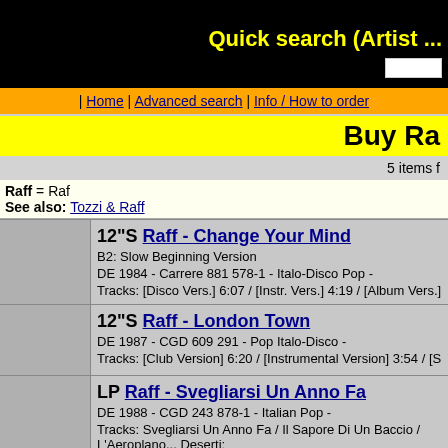Quick search (Artist ...
| Home | Advanced search | Info / How to order
Buy Ra...
5 items f...
Raff = Raf
See also: Tozzi & Raff
| Format | Details |
| --- | --- |
| 12"S | Raff - Change Your Mind
B2: Slow Beginning Version
DE 1984 - Carrere 881 578-1 - Italo-Disco Pop -
Tracks: [Disco Vers.] 6:07 / [Instr. Vers.] 4:19 / [Album Vers.] 6:15: |
| 12"S | Raff - London Town
DE 1987 - CGD 609 291 - Pop Italo-Disco -
Tracks: [Club Version] 6:20 / [Instrumental Version] 3:54 / [Single Vers... |
| LP | Raff - Svegliarsi Un Anno Fa
DE 1988 - CGD 243 878-1 - Italian Pop -
Tracks: Svegliarsi Un Anno Fa / Il Sapore Di Un Baccio / L'Aeroplano... Deserti: |